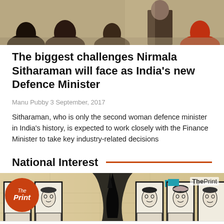[Figure (photo): Top photo showing several people from behind at what appears to be an official event or meeting, cropped to show heads and shoulders]
The biggest challenges Nirmala Sitharaman will face as India's new Defence Minister
Manu Pubby 3 September, 2017
Sitharaman, who is only the second woman defence minister in India's history, is expected to work closely with the Finance Minister to take key industry-related decisions
National Interest
[Figure (illustration): Illustration showing caricature portraits of Indian political figures in black and white sketch style, with The Print logo circle in the bottom left, ThePrint watermark top right, and an advertisement overlay at the bottom for trytrustnota.com about legal banking and IOLTA tracking for law firms]